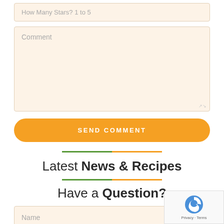How Many Stars? 1 to 5
Comment
SEND COMMENT
Latest News & Recipes
Have a Question?
Name